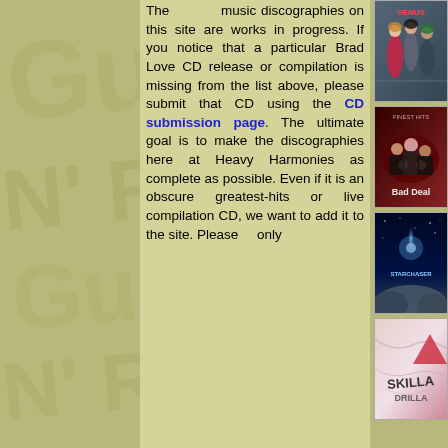The music discographies on this site are works in progress. If you notice that a particular Brad Love CD release or compilation is missing from the list above, please submit that CD using the CD submission page. The ultimate goal is to make the discographies here at Heavy Harmonies as complete as possible. Even if it is an obscure greatest-hits or live compilation CD, we want to add it to the site. Please only
[Figure (photo): Album cover photo showing a band of women, one in red dress, dark/industrial style, text 'VENUS' visible]
[Figure (photo): Album cover showing a group of people seated, dark red tones, text partially visible 'Bad Deal' or similar]
[Figure (photo): Album cover showing space/cosmic imagery, text 'STARCHASER']
[Figure (photo): Album cover with marble/stone texture in pink tones, stylized text 'SKILLA' or similar]